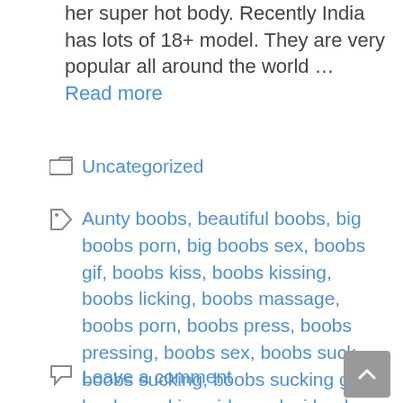her super hot body. Recently India has lots of 18+ model. They are very popular all around the world … Read more
Uncategorized
Aunty boobs, beautiful boobs, big boobs porn, big boobs sex, boobs gif, boobs kiss, boobs kissing, boobs licking, boobs massage, boobs porn, boobs press, boobs pressing, boobs sex, boobs suck, boobs sucking, boobs sucking gif, boobs sucking videos, desi boobs, hot boobs, indian big boobs, indian boobs, mallu boobs, nude boobs, sexy boobs, sucking boobs
Leave a comment